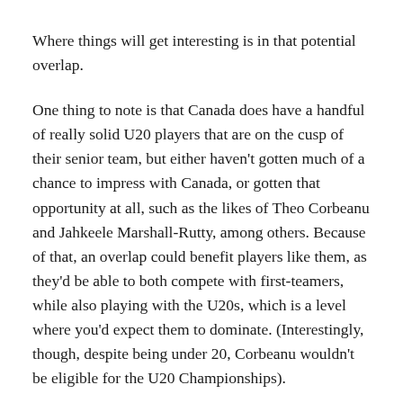Where things will get interesting is in that potential overlap.
One thing to note is that Canada does have a handful of really solid U20 players that are on the cusp of their senior team, but either haven't gotten much of a chance to impress with Canada, or gotten that opportunity at all, such as the likes of Theo Corbeanu and Jahkeele Marshall-Rutty, among others. Because of that, an overlap could benefit players like them, as they'd be able to both compete with first-teamers, while also playing with the U20s, which is a level where you'd expect them to dominate. (Interestingly, though, despite being under 20, Corbeanu wouldn't be eligible for the U20 Championships).